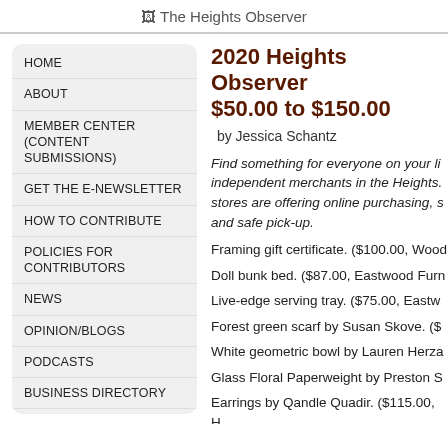The Heights Observer
2020 Heights Observer $50.00 to $150.00
by Jessica Schantz
Find something for everyone on your list from independent merchants in the Heights. Many stores are offering online purchasing, shipping and safe pick-up.
Framing gift certificate. ($100.00, Wood...
Doll bunk bed. ($87.00, Eastwood Furn...
Live-edge serving tray. ($75.00, Eastw...
Forest green scarf by Susan Skove. ($...
White geometric bowl by Lauren Herza...
Glass Floral Paperweight by Preston S...
Earrings by Qandle Quadir. ($115.00, H...
HOME
ABOUT
MEMBER CENTER (CONTENT SUBMISSIONS)
GET THE E-NEWSLETTER
HOW TO CONTRIBUTE
POLICIES FOR CONTRIBUTORS
NEWS
OPINION/BLOGS
PODCASTS
BUSINESS DIRECTORY
ADVERTISE
FREE ONLINE CLASSIFIEDS
LATEST ISSUE (PDF)